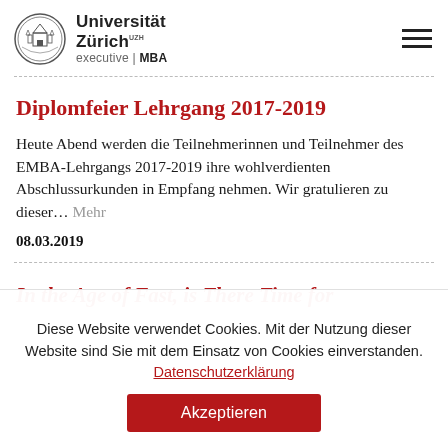[Figure (logo): Universität Zürich logo with crest and text 'executive | MBA']
Diplomfeier Lehrgang 2017-2019
Heute Abend werden die Teilnehmerinnen und Teilnehmer des EMBA-Lehrgangs 2017-2019 ihre wohlverdienten Abschlussur­kunden in Empfang nehmen. Wir gratulieren zu dieser… Mehr
08.03.2019
In the Age of Fast, is There Time for
Diese Website verwendet Cookies. Mit der Nutzung dieser Website sind Sie mit dem Einsatz von Cookies einverstanden. Datenschutzerklärung
Akzeptieren